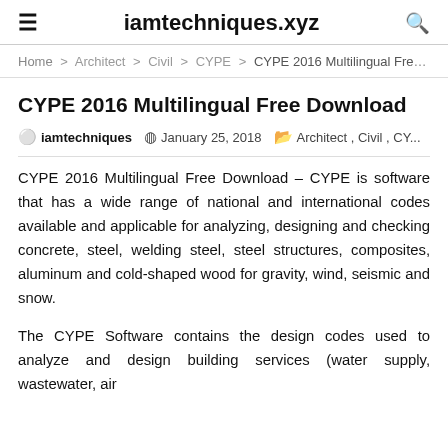iamtechniques.xyz
Home > Architect > Civil > CYPE > CYPE 2016 Multilingual Free Do...
CYPE 2016 Multilingual Free Download
iamtechniques   January 25, 2018   Architect , Civil , CY...
CYPE 2016 Multilingual Free Download – CYPE is software that has a wide range of national and international codes available and applicable for analyzing, designing and checking concrete, steel, welding steel, steel structures, composites, aluminum and cold-shaped wood for gravity, wind, seismic and snow.
The CYPE Software contains the design codes used to analyze and design building services (water supply, wastewater, air